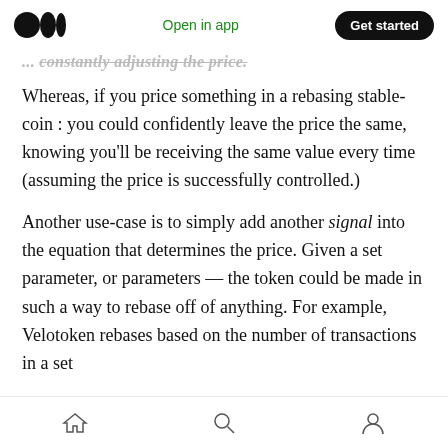Open in app | Get started
...constantly adjusting the price.
Whereas, if you price something in a rebasing stable-coin : you could confidently leave the price the same, knowing you'll be receiving the same value every time (assuming the price is successfully controlled.)
Another use-case is to simply add another signal into the equation that determines the price. Given a set parameter, or parameters — the token could be made in such a way to rebase off of anything. For example, Velotoken rebases based on the number of transactions in a set
home | search | profile